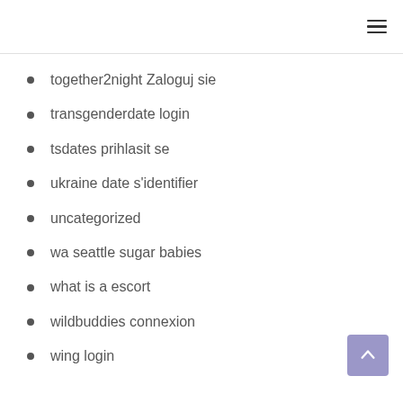together2night Zaloguj sie
transgenderdate login
tsdates prihlasit se
ukraine date s'identifier
uncategorized
wa seattle sugar babies
what is a escort
wildbuddies connexion
wing login